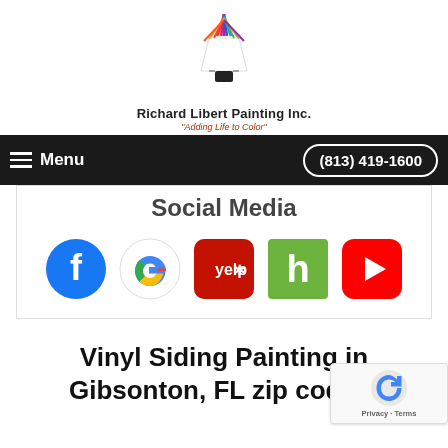[Figure (logo): Richard Libert Painting Inc. logo — colorful hot air balloon with rainbow colors and a black basket, above company name and tagline]
Richard Libert Painting Inc.
"Adding Life to Color"
Menu   (813) 419-1600
Social Media
[Figure (infographic): Row of five social media icons: Facebook (blue circle with f), Google (colorful G), Yelp (red rounded square with yelp* text), Houzz (green square with h), YouTube (red rounded rectangle with play triangle)]
Vinyl Siding Painting in Gibsonton, FL zip codes: